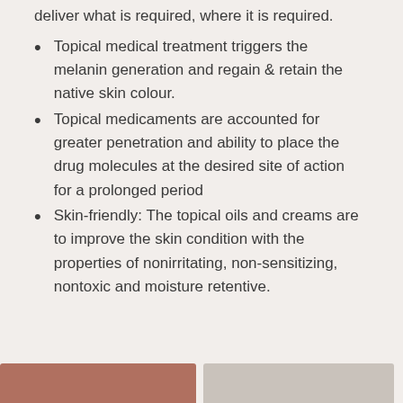deliver what is required, where it is required.
Topical medical treatment triggers the melanin generation and regain & retain the native skin colour.
Topical medicaments are accounted for greater penetration and ability to place the drug molecules at the desired site of action for a prolonged period
Skin-friendly: The topical oils and creams are to improve the skin condition with the properties of nonirritating, non-sensitizing, nontoxic and moisture retentive.
[Figure (photo): Two partial images visible at the bottom of the page — left appears to be a skin-tone reddish/brown image, right appears to be a lighter beige/grey image.]